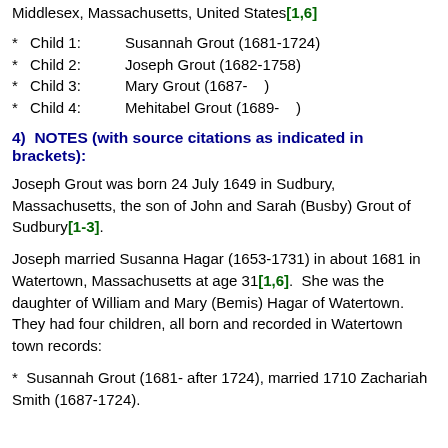Middlesex, Massachusetts, United States[1,6]
* Child 1:   Susannah Grout (1681-1724)
* Child 2:   Joseph Grout (1682-1758)
* Child 3:   Mary Grout (1687-   )
* Child 4:   Mehitabel Grout (1689-   )
4)  NOTES (with source citations as indicated in brackets):
Joseph Grout was born 24 July 1649 in Sudbury, Massachusetts, the son of John and Sarah (Busby) Grout of Sudbury[1-3].
Joseph married Susanna Hagar (1653-1731) in about 1681 in Watertown, Massachusetts at age 31[1,6].  She was the daughter of William and Mary (Bemis) Hagar of Watertown.  They had four children, all born and recorded in Watertown town records:
*  Susannah Grout (1681- after 1724), married 1710 Zachariah Smith (1687-1724).